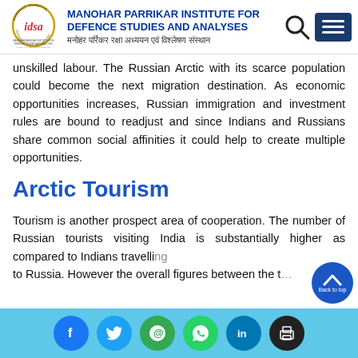MANOHAR PARRIKAR INSTITUTE FOR DEFENCE STUDIES AND ANALYSES | मनोहर पर्रिकर रक्षा अध्ययन एवं विश्लेषण संस्थान
unskilled labour. The Russian Arctic with its scarce population could become the next migration destination. As economic opportunities increases, Russian immigration and investment rules are bound to readjust and since Indians and Russians share common social affinities it could help to create multiple opportunities.
Arctic Tourism
Tourism is another prospect area of cooperation. The number of Russian tourists visiting India is substantially higher as compared to Indians travelling to Russia. However the overall figures between the t…
Social media icons: Facebook, Twitter, Email, WhatsApp, LinkedIn, Print